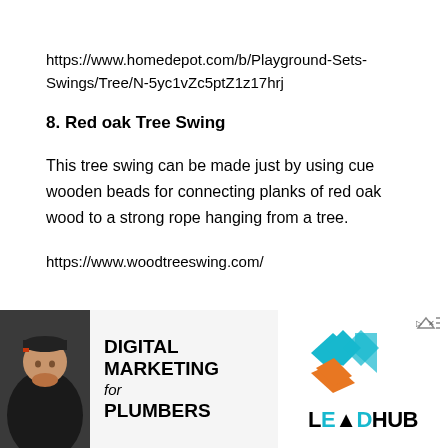https://www.homedepot.com/b/Playground-Sets-Swings/Tree/N-5yc1vZc5ptZ1z17hrj
8. Red oak Tree Swing
This tree swing can be made just by using cue wooden beads for connecting planks of red oak wood to a strong rope hanging from a tree.
https://www.woodtreeswing.com/
[Figure (infographic): Advertisement banner split into two halves. Left side shows a man wearing a baseball cap with text 'DIGITAL MARKETING for PLUMBERS'. Right side shows the LeadHub logo with geometric diamond shapes in teal and orange colors.]